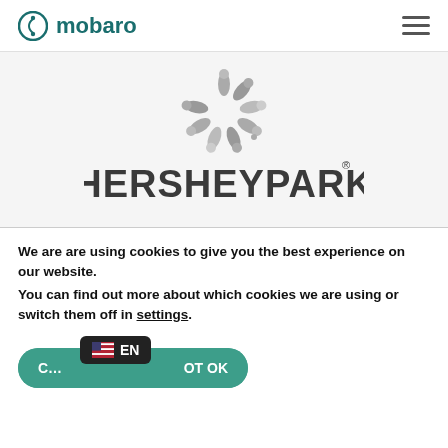[Figure (logo): Mobaro logo with circular icon and teal text 'mobaro']
[Figure (logo): Hersheypark logo — grey pinwheel swirl icon above bold dark grey HERSHEYPARK wordmark with registered trademark symbol]
We are using cookies to give you the best experience on our website.
You can find out more about which cookies we are using or switch them off in settings.
C… NOT OK
EN